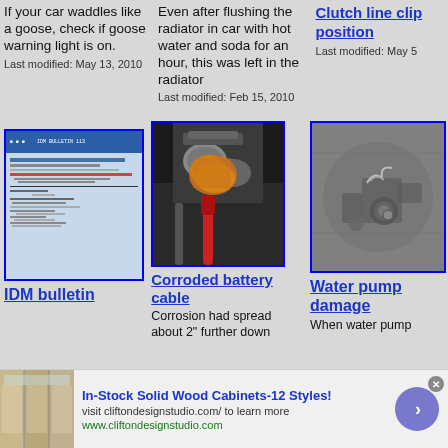If your car waddles like a goose, check if goose warning light is on.
Last modified: May 13, 2010
Even after flushing the radiator in car with hot water and soda for an hour, this was left in the radiator
Last modified: Feb 15, 2010
Clutch line clip position
Last modified: May 5
[Figure (screenshot): IDM bulletin screenshot showing software interface with blue header and table content]
IDM bulletin
[Figure (photo): Close-up photo of corroded battery cable with orange corrosion buildup on metal connectors with red wire]
Corroded battery cable
Corrosion had spread about 2" further down
[Figure (photo): Close-up photo of water pump damage showing mechanical components]
Water pump damage
When water pump
In-Stock Solid Wood Cabinets-12 Styles!
visit cliftondesignstudio.com/ to learn more
www.cliftondesignstudio.com